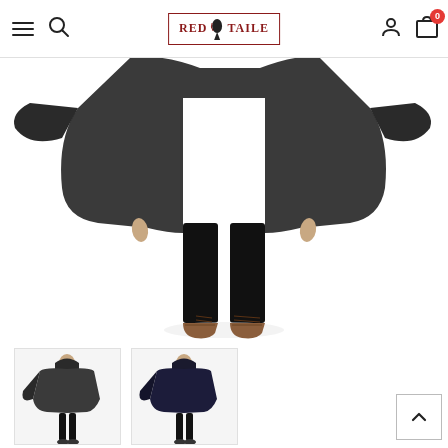RED TAILE — navigation header with hamburger menu, search, logo, user icon, cart (0)
[Figure (photo): Close-up of a person wearing a dark gray rain poncho/cape and black skinny jeans with brown lace-up ankle boots, cropped to show torso and legs on white background]
[Figure (photo): Thumbnail: Full-body view of person wearing dark charcoal/black rain poncho with hood, black leggings, on white background]
[Figure (photo): Thumbnail: Full-body view of person wearing dark navy/black rain poncho with hood, black leggings, on white background]